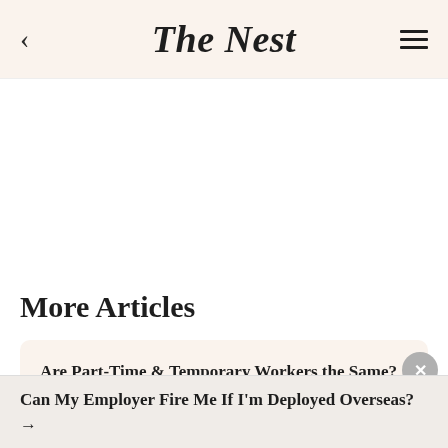The Nest
More Articles
Are Part-Time & Temporary Workers the Same? →
Can My Employer Fire Me If I'm Deployed Overseas? →